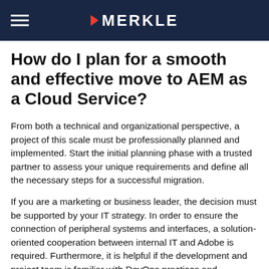MERKLE
How do I plan for a smooth and effective move to AEM as a Cloud Service?
From both a technical and organizational perspective, a project of this scale must be professionally planned and implemented. Start the initial planning phase with a trusted partner to assess your unique requirements and define all the necessary steps for a successful migration.
If you are a marketing or business leader, the decision must be supported by your IT strategy. In order to ensure the connection of peripheral systems and interfaces, a solution-oriented cooperation between internal IT and Adobe is required. Furthermore, it is helpful if the development and project team is familiar with DevOps practices and perspectives.